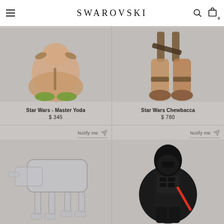SWAROVSKI
[Figure (photo): Swarovski crystal figurine of Star Wars Master Yoda with green feet and robes, on grey background]
Star Wars - Master Yoda
$ 345
[Figure (photo): Swarovski crystal figurine of Star Wars Chewbacca lower body with brown fur legs visible, on grey background]
Star Wars Chewbacca
$ 780
[Figure (photo): Swarovski crystal figurine of Star Wars AT-AT Walker, transparent crystal, on grey background with Notify me button]
Notify me
[Figure (photo): Swarovski crystal figurine of Star Wars Darth Vader in black with red lightsaber, on grey background with Notify me button]
Notify me